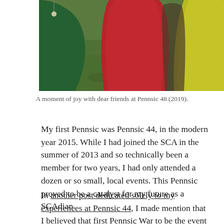[Figure (photo): Photo showing people in colorful medieval dresses (green, red, yellow-green) standing on grass, partially cropped. A pendant necklace is visible on the green dress.]
A moment of joy with dear friends at Pennsic 48 (2019).
My first Pennsic was Pennsic 44, in the modern year 2015. While I had joined the SCA in the summer of 2013 and so technically been a member for two years, I had only attended a dozen or so small, local events. This Pennsic proved to be a catalyst for my future as a SCAdian.
In another post dedicated solely to my experiences at Pennsic 44, I made mention that I believed that first Pennsic War to be the event that spurred me on